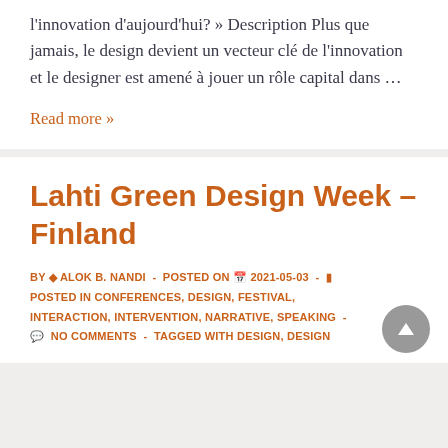l'innovation d'aujourd'hui? » Description Plus que jamais, le design devient un vecteur clé de l'innovation et le designer est amené à jouer un rôle capital dans …
Read more »
Lahti Green Design Week – Finland
BY  ALOK B. NANDI  -  POSTED ON  2021-05-03  -  POSTED IN CONFERENCES, DESIGN, FESTIVAL, INTERACTION, INTERVENTION, NARRATIVE, SPEAKING  -   NO COMMENTS  -  TAGGED WITH DESIGN, DESIGN